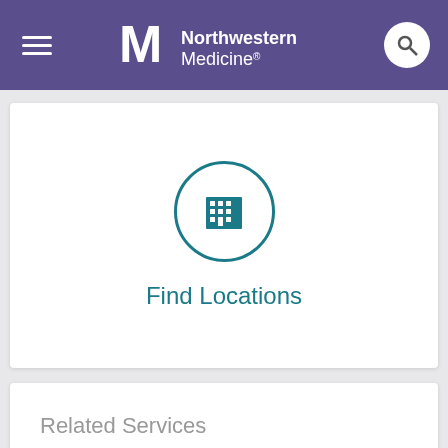Northwestern Medicine
[Figure (screenshot): Find Locations card with building icon in teal circle]
Find Locations
Related Services
SPECIALTIES
Family Medicine
Internal Medicine
SERVICES
Integrative Medicine
Health & Wellness